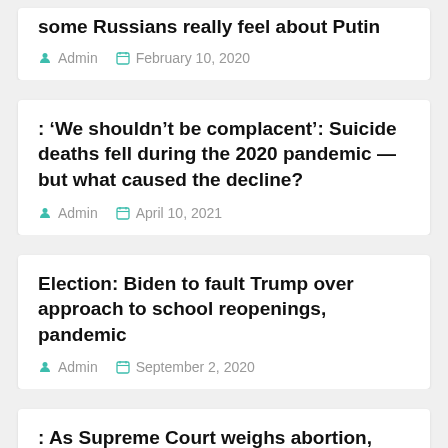some Russians really feel about Putin
Admin   February 10, 2020
: 'We shouldn’t be complacent': Suicide deaths fell during the 2020 pandemic — but what caused the decline?
Admin   April 10, 2021
Election: Biden to fault Trump over approach to school reopenings, pandemic
Admin   September 2, 2020
: As Supreme Court weighs abortion, here’s the